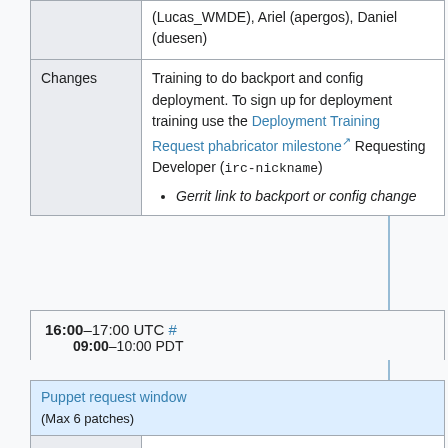|  |  |
| --- | --- |
|  | (Lucas_WMDE), Ariel (apergos), Daniel (duesen) |
| Changes | Training to do backport and config deployment. To sign up for deployment training use the Deployment Training Request phabricator milestone Requesting Developer (irc-nickname)
• Gerrit link to backport or config change |
16:00–17:00 UTC # 09:00–10:00 PDT
| Puppet request window (Max 6 patches) |  |
| --- | --- |
| Deployer | JBond (jbond42), Chris |